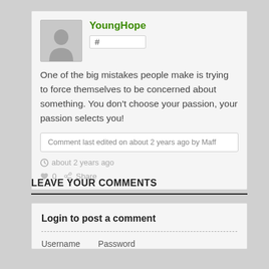[Figure (screenshot): User avatar placeholder silhouette icon in gray box]
YoungHope
#
One of the big mistakes people make is trying to force themselves to be concerned about something. You don't choose your passion, your passion selects you!
Comment last edited on about 2 years ago by Maff
about 2 years ago
0  Share
LEAVE YOUR COMMENTS
Login to post a comment
Username
Password